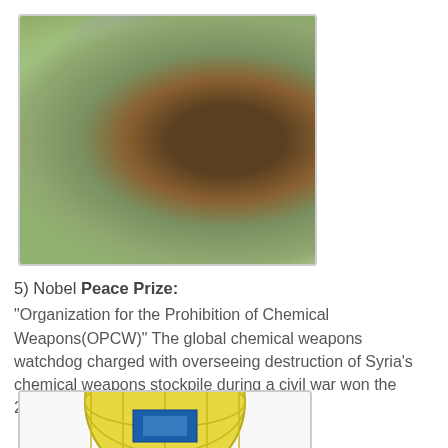[Figure (photo): An elderly woman with short gray hair, wearing a white button-up shirt, smiling outdoors near a tree with green foliage in the background.]
5) Nobel Peace Prize: "Organization for the Prohibition of Chemical Weapons(OPCW)" The global chemical weapons watchdog charged with overseeing destruction of Syria's chemical weapons stockpile during a civil war won the 2013 Nobel Peace Prize (11 Oct 2013).
[Figure (logo): OPCW logo - a globe with grid lines in yellow/gold and blue, partially visible at bottom of page.]